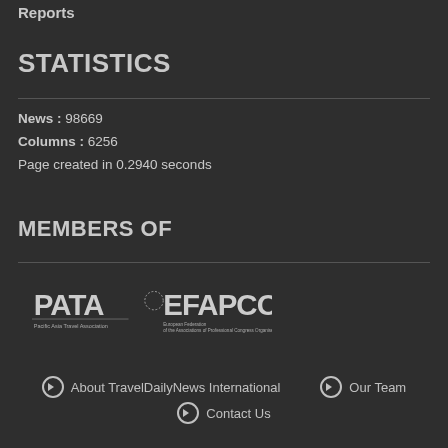Reports
STATISTICS
News : 98669
Columns : 6256
Page created in 0.2940 seconds
MEMBERS OF
[Figure (logo): PATA (Pacific Asia Travel Association) and EFAPCO (European Federation of the Associations of Professional Congress Organisers) logos on dark background]
About TravelDailyNews International
Our Team
Contact Us